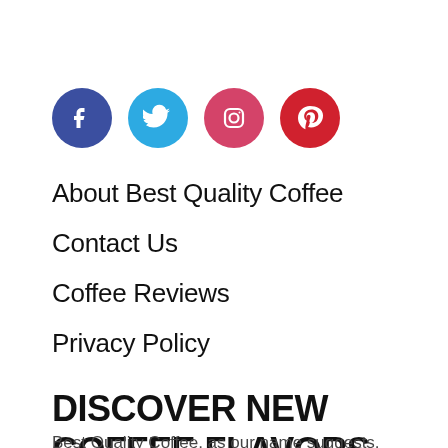[Figure (other): Four social media icon circles: Facebook (dark blue), Twitter (light blue), Instagram (pink-red), Pinterest (red)]
About Best Quality Coffee
Contact Us
Coffee Reviews
Privacy Policy
DISCOVER NEW COFFEE FLAVORS
Best Quality Coffee, as our name suggests,